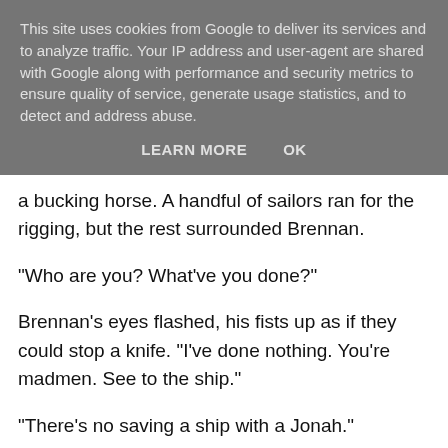This site uses cookies from Google to deliver its services and to analyze traffic. Your IP address and user-agent are shared with Google along with performance and security metrics to ensure quality of service, generate usage statistics, and to detect and address abuse.
LEARN MORE    OK
a bucking horse. A handful of sailors ran for the rigging, but the rest surrounded Brennan.
"Who are you? What've you done?"
Brennan's eyes flashed, his fists up as if they could stop a knife. "I've done nothing. You're madmen. See to the ship."
"There's no saving a ship with a Jonah."
"He's no Jonah!" I shouted. "There's no such thing!" But my words flew back at me as the gale strangled my breath.